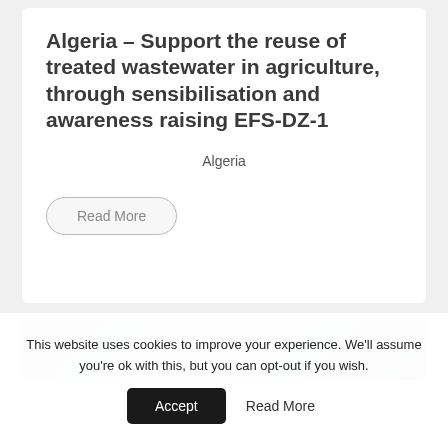Algeria – Support the reuse of treated wastewater in agriculture, through sensibilisation and awareness raising EFS-DZ-1
Algeria
Read More
[Figure (photo): Partial view of a photograph, appears to show a light source or illuminated scene with grey/blue tones]
This website uses cookies to improve your experience. We'll assume you're ok with this, but you can opt-out if you wish.
Accept
Read More